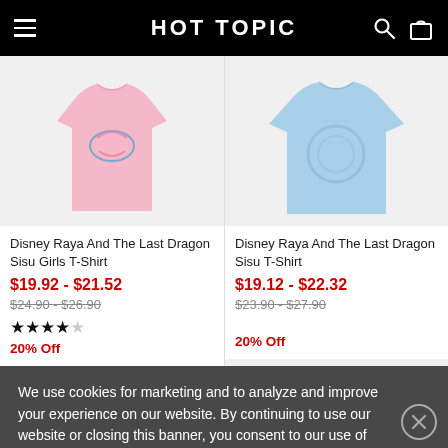HOT TOPIC
[Figure (photo): Pink girls t-shirt with dragon design]
Disney Raya And The Last Dragon Sisu Girls T-Shirt
$19.92 - $21.52
$24.90 - $26.90
★★★★☆
20% Off
[Figure (photo): Light blue t-shirt with dragon design]
Disney Raya And The Last Dragon Sisu T-Shirt
$19.12 - $22.32
$23.90 - $27.90
20% Off
We use cookies for marketing and to analyze and improve your experience on our website. By continuing to use our website or closing this banner, you consent to our use of cookies. To learn more, please visit our Privacy Policy.